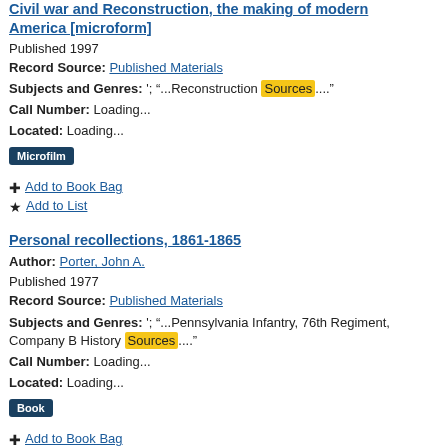Civil war and Reconstruction, the making of modern America [microform]
Published 1997
Record Source: Published Materials
Subjects and Genres: '; “...Reconstruction Sources...."
Call Number: Loading...
Located: Loading...
Microfilm
+ Add to Book Bag
★ Add to List
Personal recollections, 1861-1865
Author: Porter, John A.
Published 1977
Record Source: Published Materials
Subjects and Genres: '; “...Pennsylvania Infantry, 76th Regiment, Company B History Sources...."
Call Number: Loading...
Located: Loading...
Book
+ Add to Book Bag